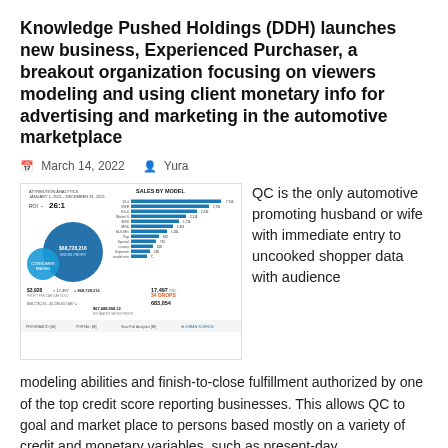Knowledge Pushed Holdings (DDH) launches new business, Experienced Purchaser, a breakout organization focusing on viewers modeling and using client monetary info for advertising and marketing in the automotive marketplace
March 14, 2022   Yura
[Figure (infographic): Urban Science automotive sales infographic showing ROI 26:1, sales by model bar chart, bubble chart with $68,728,216, figures: $3,928 x 17,497 = $68,728,216, $67,688,558.12 estimated gross profit, 17,497, 34 DROPS, 683,054]
QC is the only automotive promoting husband or wife with immediate entry to uncooked shopper data with audience modeling abilities and finish-to-close fulfillment authorized by one of the top credit score reporting businesses. This allows QC to goal and market place to persons based mostly on a variety of credit and monetary variables, such as present-day